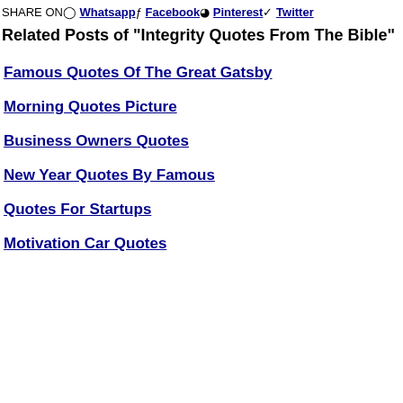SHARE ON  Whatsapp  Facebook  Pinterest  Twitter
Related Posts of "Integrity Quotes From The Bible"
Famous Quotes Of The Great Gatsby
Morning Quotes Picture
Business Owners Quotes
New Year Quotes By Famous
Quotes For Startups
Motivation Car Quotes